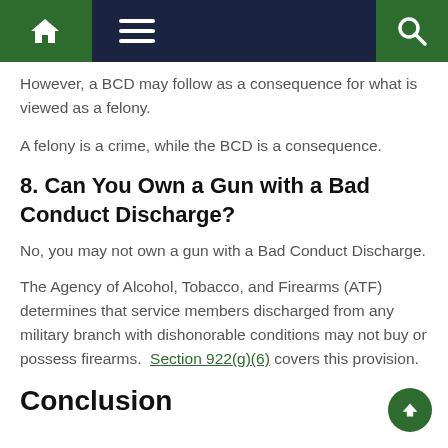Navigation bar with home, menu, and search icons
However, a BCD may follow as a consequence for what is viewed as a felony.
A felony is a crime, while the BCD is a consequence.
8. Can You Own a Gun with a Bad Conduct Discharge?
No, you may not own a gun with a Bad Conduct Discharge.
The Agency of Alcohol, Tobacco, and Firearms (ATF) determines that service members discharged from any military branch with dishonorable conditions may not buy or possess firearms.  Section 922(g)(6) covers this provision.
Conclusion